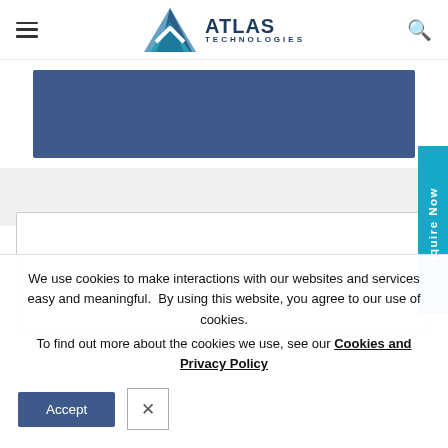Atlas Technologies
[Figure (other): Atlas Technologies logo with mountain-peak icon in blue/teal tones and company name in dark blue text]
[Figure (other): Blue banner/hero image area below navigation header]
[Figure (other): White content card area]
[Figure (other): Enquire Now vertical blue sidebar button]
We use cookies to make interactions with our websites and services easy and meaningful.  By using this website, you agree to our use of cookies. To find out more about the cookies we use, see our Cookies and Privacy Policy
Accept